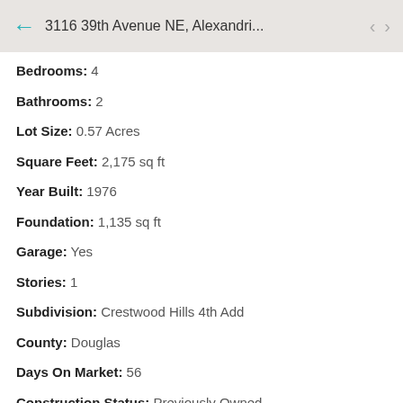3116 39th Avenue NE, Alexandri...
Bedrooms: 4
Bathrooms: 2
Lot Size: 0.57 Acres
Square Feet: 2,175 sq ft
Year Built: 1976
Foundation: 1,135 sq ft
Garage: Yes
Stories: 1
Subdivision: Crestwood Hills 4th Add
County: Douglas
Days On Market: 56
Construction Status: Previously Owned
School Information
District: 206 - Alexandri...